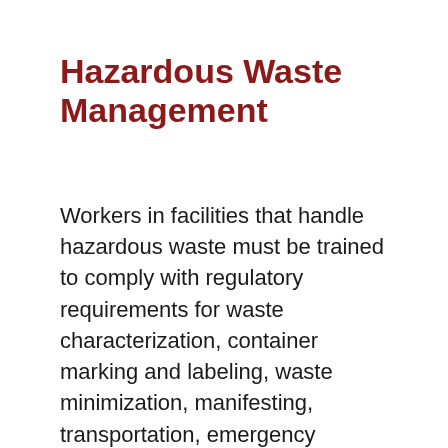Hazardous Waste Management
Workers in facilities that handle hazardous waste must be trained to comply with regulatory requirements for waste characterization, container marking and labeling, waste minimization, manifesting, transportation, emergency response, and land disposal restrictions and certification. This course provides the employee with the information necessary to carry out this task and prepares